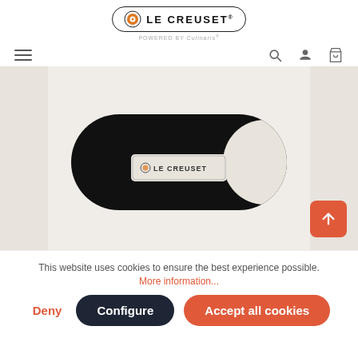[Figure (logo): Le Creuset logo with orange circle icon, bold text 'LE CREUSET' with trademark symbol, inside rounded border. Below: 'POWERED BY Culinaris']
[Figure (screenshot): Navigation bar with hamburger menu on left and search, user, and bag icons on right]
[Figure (photo): Product photo of a black Le Creuset oven mitt/glove with white Le Creuset label patch and white fleece lining visible on the right side, on a beige background]
This website uses cookies to ensure the best experience possible.
More information...
Deny
Configure
Accept all cookies